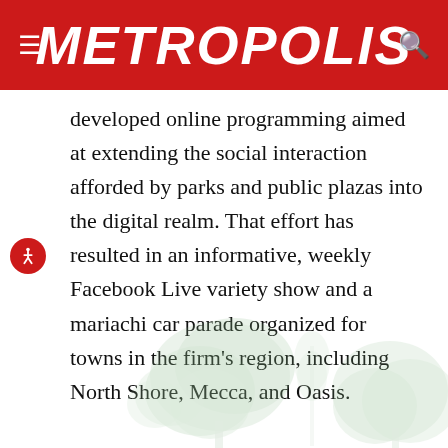METROPOLIS
developed online programming aimed at extending the social interaction afforded by parks and public plazas into the digital realm. That effort has resulted in an informative, weekly Facebook Live variety show and a mariachi car parade organized for towns in the firm's region, including North Shore, Mecca, and Oasis.
[Figure (illustration): Faded light green silhouettes of trees at the bottom of the page]